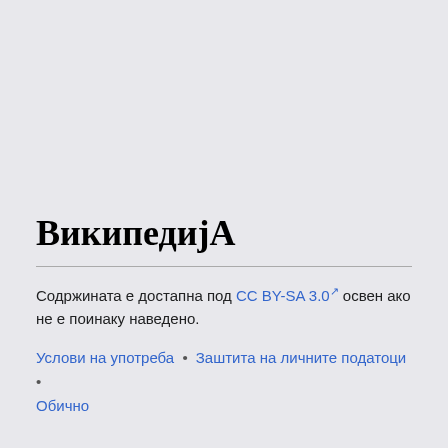ВикипедијА
Содржината е достапна под CC BY-SA 3.0 освен ако не е поинаку наведено.
Услови на употреба • Заштита на личните податоци • Обично